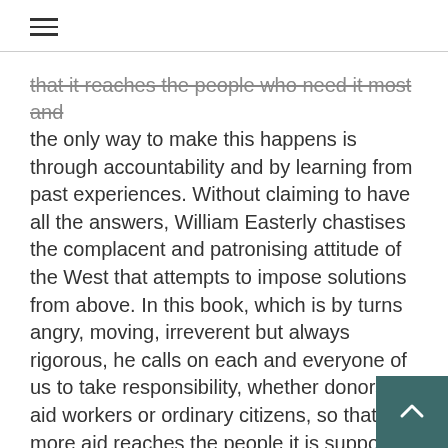that it reaches the people who need it most and the only way to make this happens is through accountability and by learning from past experiences. Without claiming to have all the answers, William Easterly chastises the complacent and patronising attitude of the West that attempts to impose solutions from above. In this book, which is by turns angry, moving, irreverent but always rigorous, he calls on each and everyone of us to take responsibility, whether donors, aid workers or ordinary citizens, so that more aid reaches the people it is supposed to help, the mother who cannot feed her children, the little girl who has to collect firewood rather than go to school, the father who cannot work because he has been crippled by war.